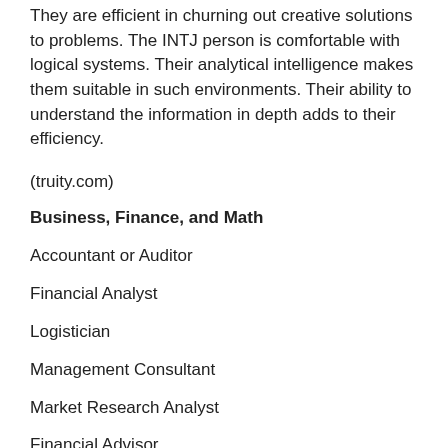They are efficient in churning out creative solutions to problems. The INTJ person is comfortable with logical systems. Their analytical intelligence makes them suitable in such environments. Their ability to understand the information in depth adds to their efficiency.
(truity.com)
Business, Finance, and Math
Accountant or Auditor
Financial Analyst
Logistician
Management Consultant
Market Research Analyst
Financial Advisor